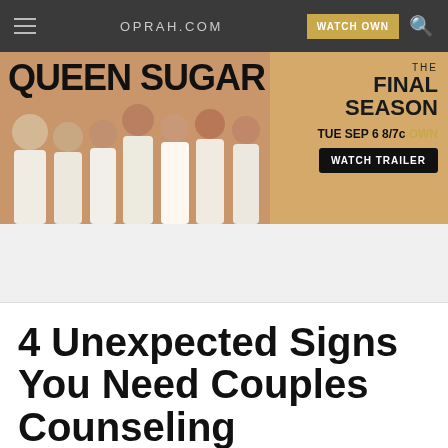OPRAH.COM | WATCH OWN
[Figure (illustration): Queen Sugar TV show advertisement banner. Shows cast members dressed in white/cream outfits on a tan/gold background. Text reads: QUEEN SUGAR THE FINAL SEASON TUE SEP 6 8/7c OWN WATCH TRAILER]
4 Unexpected Signs You Need Couples Counseling
What's normal in a relationship and what's a